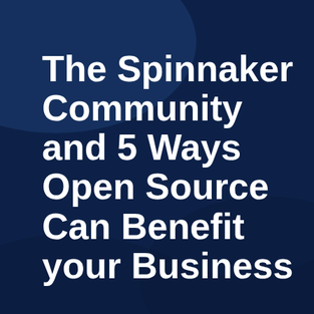The Spinnaker Community and 5 Ways Open Source Can Benefit your Business